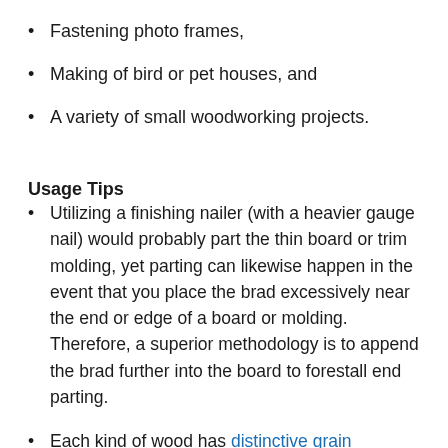Fastening photo frames,
Making of bird or pet houses, and
A variety of small woodworking projects.
Usage Tips
Utilizing a finishing nailer (with a heavier gauge nail) would probably part the thin board or trim molding, yet parting can likewise happen in the event that you place the brad excessively near the end or edge of a board or molding. Therefore, a superior methodology is to append the brad further into the board to forestall end parting.
Each kind of wood has distinctive grain properties,